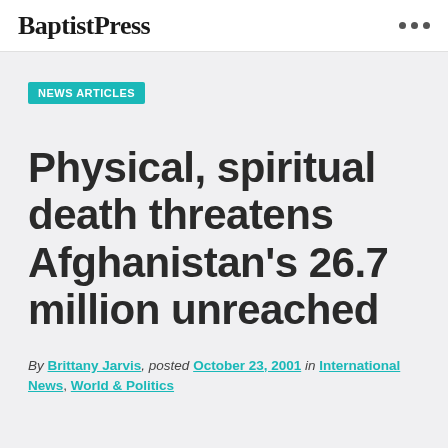Baptist Press
NEWS ARTICLES
Physical, spiritual death threatens Afghanistan's 26.7 million unreached
By Brittany Jarvis, posted October 23, 2001 in International News, World & Politics